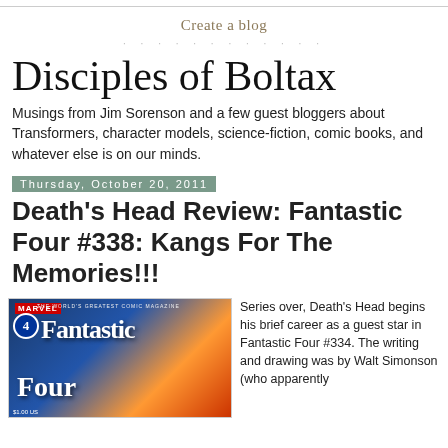Create a blog
Disciples of Boltax
Musings from Jim Sorenson and a few guest bloggers about Transformers, character models, science-fiction, comic books, and whatever else is on our minds.
Thursday, October 20, 2011
Death's Head Review: Fantastic Four #338: Kangs For The Memories!!!
[Figure (photo): Cover of Fantastic Four comic book, Marvel Comics, with large orange stylized title text on a colorful background]
Series over, Death's Head begins his brief career as a guest star in Fantastic Four #334. The writing and drawing was by Walt Simonson (who apparently